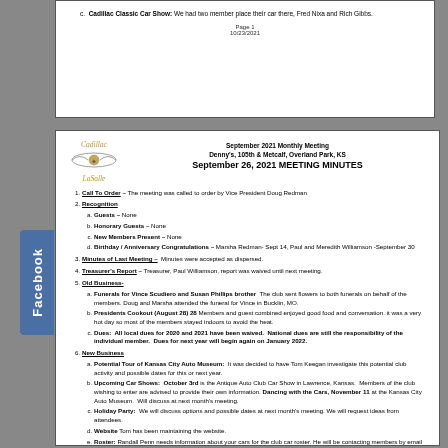Cadillac Classic Car Show: We had two member place their car there, Fred Nixa and Rich Gibbs.
Page 1
10/23/2021
[Figure (logo): Cadillac LaSalle Club logo with wings emblem]
September 2021 Monthly Meeting
Denny's, 105th & Metcalf, Overland Park, KS
September 26, 2021 MEETING MINUTES
Call To Order – The meeting was called to order by Vice President Doug Redman
Recognition
a. Guests – None
b. Honorary Guests – None
c. New Members Present – None
d. Birthday / Anniversary Congratulations – Marsha Redman- Sept 14, Paul and Meredith Williamson -September 30
Minutes of Last Meeting – Minutes were accepted as dispersed.
Treasurer's Report – Treasurer, Paul Williamson, report was waived until next meeting.
Old Business-
a. Funerals for Vince Scudiero and Susan Phillips brother The club sent flowers to both funerals on behalf of the members. Doug and Marsha attended the funeral for Vince in Bucklin, MO.
b. Presidents Cookout (August 28) 28 Members and guest combined enjoyed good food and conversation. it was a very hot day so most of the members stayed indoors to avoid the heat.
c. Dues: All local dues for 2020 and 2021 have been waived. National dues are still the responsibility of the individual member. Dues for next year will begin again on January 2022.
New Business
a. Potential Tour of Kansas City Auto Museum: It was decided to have Tom Keegan investigate this potential club activity and possible dates for this or next year.
b. Upcoming Car Shows: October 3rd is the Antique Auto Club Car Show in Lawrence, Kansas. Members of the club wishing to enter are advised to provide their own information. Dancing with the Cars, November 11 at the Kansas City Auto Museum. Will discuss at next month's meeting.
c. Holiday Party: We will discuss options and possible dates at next month's meeting. We will request ideas from attendees.
d. Website Tom has been maintaining the website.
e. Roster: Randall Penn needs information about your cars for the club car roster. He will be contacting members by email with their pages started and requesting information. Pictures can be sent in or Randall can take them at meetings or other